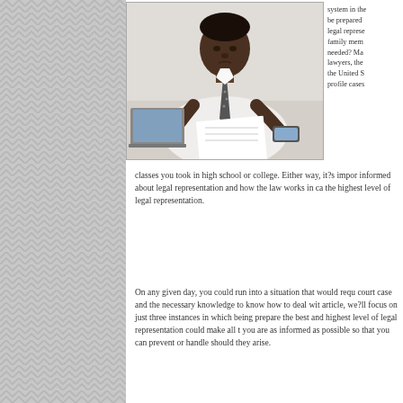[Figure (photo): A Black man in a white dress shirt and striped tie, leaning over a desk looking at papers, with an open laptop to his left and a smartphone to his right on the desk.]
system in the be prepared legal represe family mem needed? Ma lawyers, the the United S profile cases
classes you took in high school or college. Either way, it?s impor informed about legal representation and how the law works in ca the highest level of legal representation.
On any given day, you could run into a situation that would requ court case and the necessary knowledge to know how to deal wit article, we?ll focus on just three instances in which being prepare the best and highest level of legal representation could make all t you are as informed as possible so that you can prevent or handle should they arise.